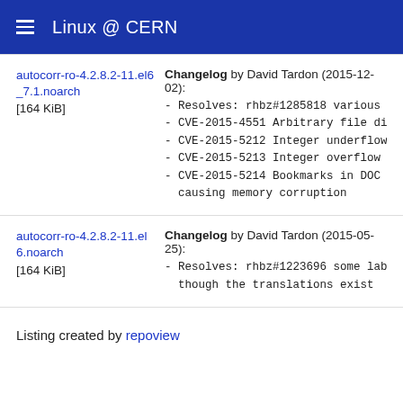Linux @ CERN
autocorr-ro-4.2.8.2-11.el6_7.1.noarch [164 KiB] — Changelog by David Tardon (2015-12-02): - Resolves: rhbz#1285818 various - CVE-2015-4551 Arbitrary file di - CVE-2015-5212 Integer underflow - CVE-2015-5213 Integer overflow - CVE-2015-5214 Bookmarks in DOC causing memory corruption
autocorr-ro-4.2.8.2-11.el6.noarch [164 KiB] — Changelog by David Tardon (2015-05-25): - Resolves: rhbz#1223696 some lab though the translations exist
Listing created by repoview